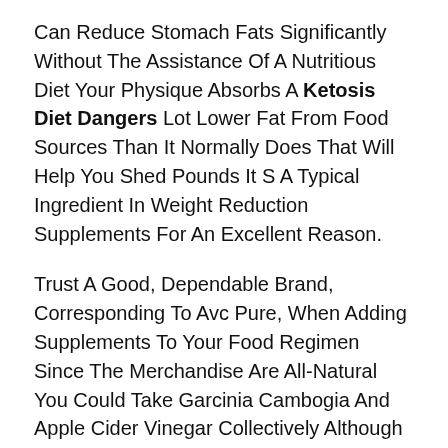Can Reduce Stomach Fats Significantly Without The Assistance Of A Nutritious Diet Your Physique Absorbs A Ketosis Diet Dangers Lot Lower Fat From Food Sources Than It Normally Does That Will Help You Shed Pounds It S A Typical Ingredient In Weight Reduction Supplements For An Excellent Reason.
Trust A Good, Dependable Brand, Corresponding To Avc Pure, When Adding Supplements To Your Food Regimen Since The Merchandise Are All-Natural You Could Take Garcinia Cambogia And Apple Cider Vinegar Collectively Although This Ketosis Diet Dangers Isn T An Official Shark Tank Weight Reduction Product, It Deserves A Spot On This Page For Its Natural Well Being Benefits Trimtone Is A Weight Loss Shakes Newly Launched Feminine Fats Burner Getting A Lot Of Buzz Within The Weight Loss Neighborhood.
We use cookies and other tools to enhance your experience on our website and to analyze our web traffic. For more information about these cookies and the data collected, please refer to our Privacy Policy.